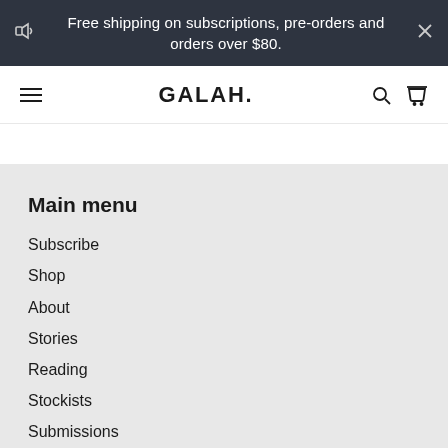Free shipping on subscriptions, pre-orders and orders over $80.
GALAH.
Main menu
Subscribe
Shop
About
Stories
Reading
Stockists
Submissions
Useful info
Search